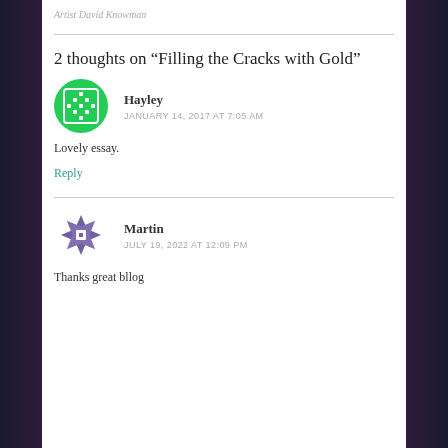Artist David Knowman
2 thoughts on “Filling the Cracks with Gold”
Hayley
JANUARY 14, 2017 AT 7:05 AM
Lovely essay.
Reply
Martin
JULY 19, 2022 AT 12:09 PM
Thanks great bllog